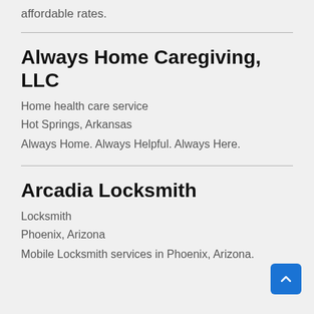affordable rates.
Always Home Caregiving, LLC
Home health care service
Hot Springs, Arkansas
Always Home. Always Helpful. Always Here.
Arcadia Locksmith
Locksmith
Phoenix, Arizona
Mobile Locksmith services in Phoenix, Arizona.